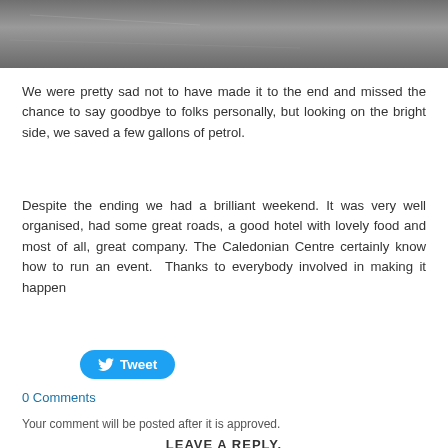[Figure (photo): Top portion of a photograph showing a road surface, gray asphalt, partially cropped at the bottom of the image strip.]
We were pretty sad not to have made it to the end and missed the chance to say goodbye to folks personally, but looking on the bright side, we saved a few gallons of petrol.
Despite the ending we had a brilliant weekend. It was very well organised, had some great roads, a good hotel with lovely food and most of all, great company. The Caledonian Centre certainly know how to run an event.  Thanks to everybody involved in making it happen
[Figure (other): Twitter Tweet button — rounded blue button with bird icon and text 'Tweet']
0 Comments
Your comment will be posted after it is approved.
LEAVE A REPLY.